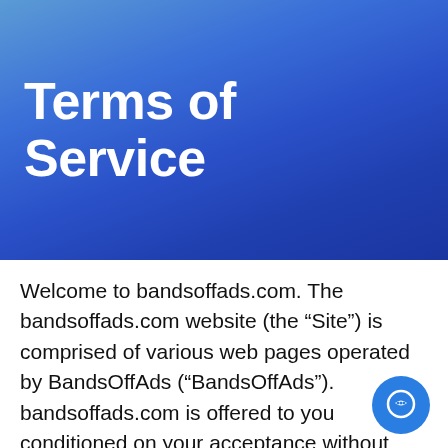Terms of Service
Welcome to bandsoffads.com. The bandsoffads.com website (the “Site”) is comprised of various web pages operated by BandsOffAds (“BandsOffAds”). bandsoffads.com is offered to you conditioned on your acceptance without modification of the terms, conditions, and notices contained herein (the “Terms”). Your use of bandsoffads.com constitutes